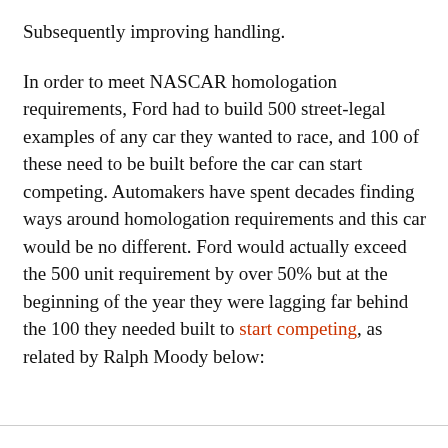Subsequently improving handling. In order to meet NASCAR homologation requirements, Ford had to build 500 street-legal examples of any car they wanted to race, and 100 of these need to be built before the car can start competing. Automakers have spent decades finding ways around homologation requirements and this car would be no different. Ford would actually exceed the 500 unit requirement by over 50% but at the beginning of the year they were lagging far behind the 100 they needed built to start competing, as related by Ralph Moody below: